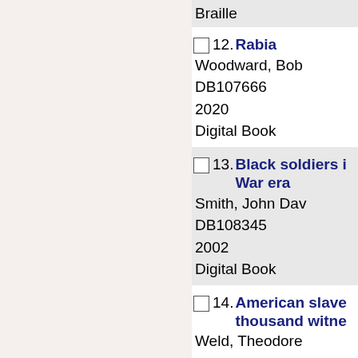Braille
12. Rabia
Woodward, Bob
DB107666
2020
Digital Book
13. Black soldiers [in the Civil War era]
Smith, John Dav...
DB108345
2002
Digital Book
14. American slave[ry : a composite autobiography / a] thousand witne[sses]
Weld, Theodore
DB108675
2017
Digital Book
15. Unforgetting :...